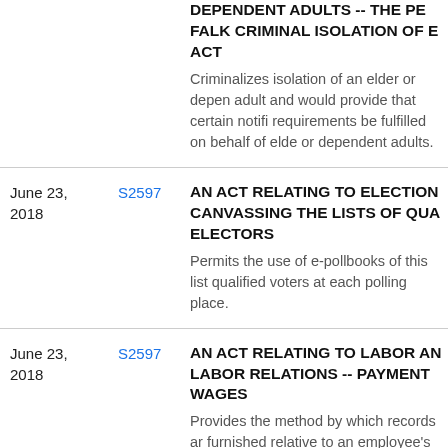| Date | Bill | Title/Description |
| --- | --- | --- |
|  |  | DEPENDENT ADULTS -- THE PE FALK CRIMINAL ISOLATION OF E ACT
Criminalizes isolation of an elder or depen adult and would provide that certain notifi requirements be fulfilled on behalf of elde or dependent adults. |
| June 23, 2018 | S2597 | AN ACT RELATING TO ELECTION CANVASSING THE LISTS OF QUA ELECTORS
Permits the use of e-pollbooks of this list qualified voters at each polling place. |
| June 23, 2018 | S2597 | AN ACT RELATING TO LABOR AN LABOR RELATIONS -- PAYMENT WAGES
Provides the method by which records ar furnished relative to an employee's staten earnings. |